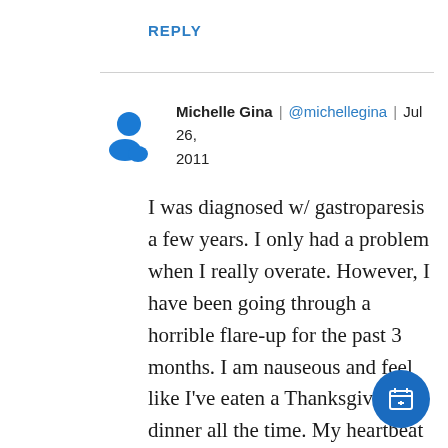REPLY
Michelle Gina | @michellegina | Jul 26, 2011
I was diagnosed w/ gastroparesis a few years. I only had a problem when I really overate. However, I have been going through a horrible flare-up for the past 3 months. I am nauseous and feel like I've eaten a Thanksgiving dinner all the time. My heartbeat has risen. A stress test was ok. I am lightheaded, have low thyroid, ringing in my ears, acid reflux, fatigue, bloating, tingling and numbness in my hands and feet. It feels like I am carrying